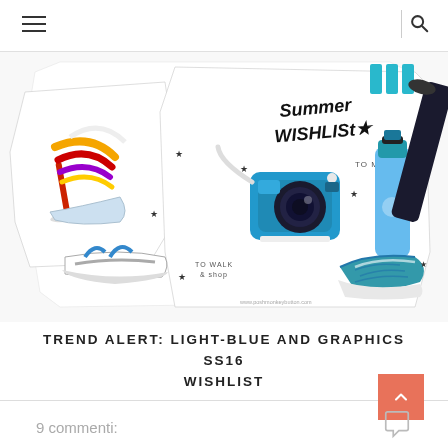Navigation header with hamburger menu and search icon
[Figure (illustration): Summer Wishlist collage illustration with light-blue items including a Fujifilm Instax camera, blue water bottle, yoga mat, blue sneakers/Huaraches, colorful high heel sandal, and blue flat sandals arranged in a decorative cut-out style layout with star decorations and handwritten 'Summer Wishlist' text]
TREND ALERT: LIGHT-BLUE AND GRAPHICS SS16 WISHLIST
9 commenti: